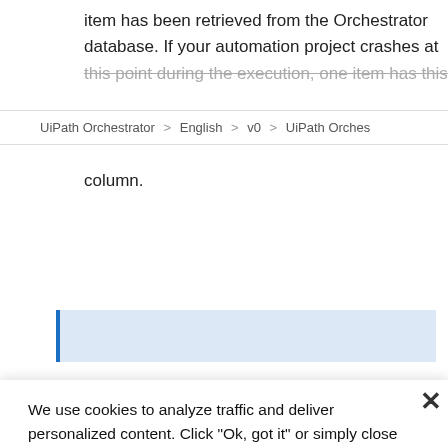item has been retrieved from the Orchestrator database. If your automation project crashes at this point during the execution, one item has this
UiPath Orchestrator > English > v0 > UiPath Orches
column.
We use cookies to analyze traffic and deliver personalized content. Click "Ok, got it" or simply close this banner to allow the all cookies. Click "View cookie settings" to allow certain categories of cookies. Update your cookie settings any time from our Cookie Policy.
Ok, got it
View cookie settings